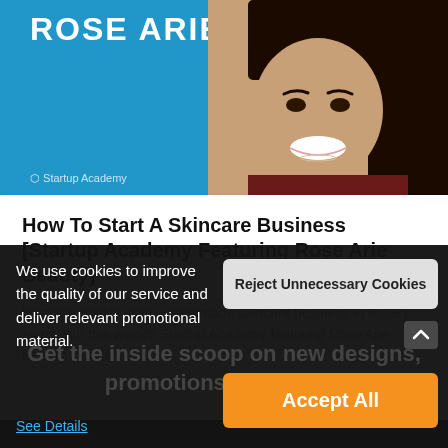[Figure (photo): Screenshot of a website showing Rose Arie Beauty Startup Academy. Top blue banner with 'ROSE ARIE' text in white bold letters and a photo of a smiling Black woman with long dark hair on the right side.]
How To Start A Skincare Business [Startup Academy Featuring Rose Arie Beauty]
Discover how to start a handmade skincare business in 6 easy steps with this week's Startup Academy featuring Rose Arie Beauty founder Alicia.
READ MORE
We use cookies to improve the quality of our service and deliver relevant promotional material.
See Details
Reject Unnecessary Cookies
Accept All
Get the inside scoop on new designs, promotions, and more.